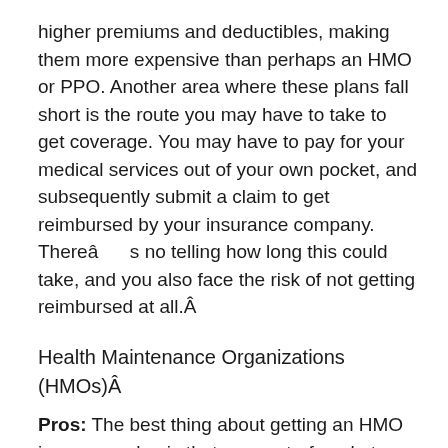higher premiums and deductibles, making them more expensive than perhaps an HMO or PPO. Another area where these plans fall short is the route you may have to take to get coverage. You may have to pay for your medical services out of your own pocket, and subsequently submit a claim to get reimbursed by your insurance company. Thereâs no telling how long this could take, and you also face the risk of not getting reimbursed at all.Â
Health Maintenance Organizations (HMOs)Â
Pros: The best thing about getting an HMO insurance plan is that your out-of-pocket medical expenses are usually pretty affordable, and you can expect to pay the same amount for each visit, depending on whether itâs a primary care physician or a specialist.